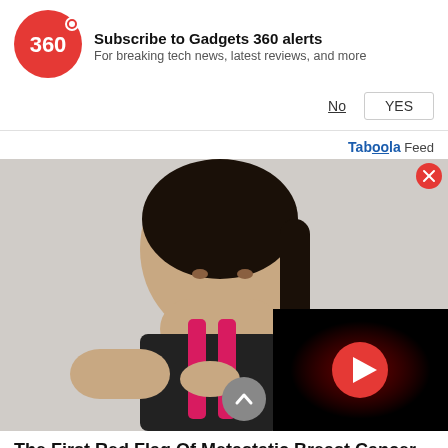[Figure (logo): Gadgets 360 red circular logo with '360' text]
Subscribe to Gadgets 360 alerts
For breaking tech news, latest reviews, and more
No   YES
Taboola Feed
[Figure (photo): Young woman in pink and black sports bra holding her chest, appearing to be in pain, on a light background. A video player overlay is visible in the bottom right corner with a red play button on a dark background. A red close button is in the upper right. A grey scroll-up arrow button is visible.]
The First Red Flag Of Metastatic Breast Cancer (Write This Down)